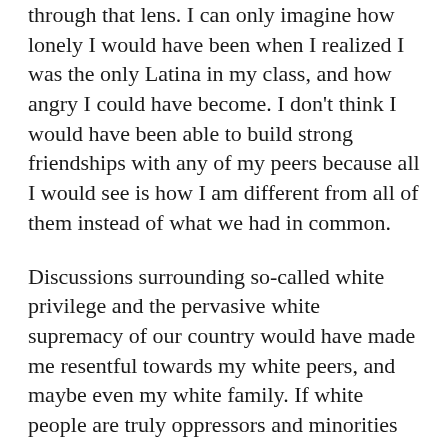through that lens. I can only imagine how lonely I would have been when I realized I was the only Latina in my class, and how angry I could have become. I don't think I would have been able to build strong friendships with any of my peers because all I would see is how I am different from all of them instead of what we had in common.
Discussions surrounding so-called white privilege and the pervasive white supremacy of our country would have made me resentful towards my white peers, and maybe even my white family. If white people are truly oppressors and minorities are truly oppressed, I would have had to wonder why my mother would ever marry and start a